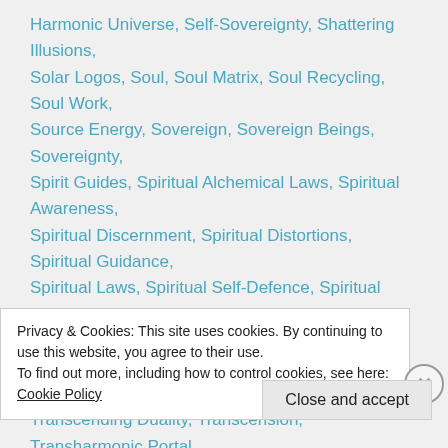Harmonic Universe, Self-Sovereignty, Shattering Illusions, Solar Logos, Soul, Soul Matrix, Soul Recycling, Soul Work, Source Energy, Sovereign, Sovereign Beings, Sovereignty, Spirit Guides, Spiritual Alchemical Laws, Spiritual Awareness, Spiritual Discernment, Spiritual Distortions, Spiritual Guidance, Spiritual Laws, Spiritual Self-Defence, Spiritual Self-Defense, Spiritual Sovereignty, Spiritual Traps, Tara, The Creatrix, The Matrix, Timeline Clearing, Timelines, Transcending, Transcending Duality, Transcension, Transharmonic Portal, Transit Portal, Transmutation, Transmuting, Transmuting Negative Energies, Trickster Archetypes, Trickster Spirits, Truth...
Privacy & Cookies: This site uses cookies. By continuing to use this website, you agree to their use. To find out more, including how to control cookies, see here: Cookie Policy
Close and accept